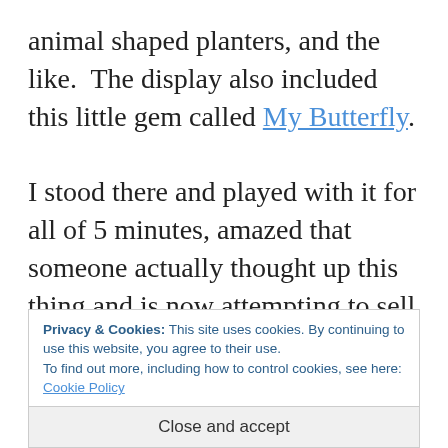animal shaped planters, and the like. The display also included this little gem called My Butterfly. I stood there and played with it for all of 5 minutes, amazed that someone actually thought up this thing and is now attempting to sell it at Walgreens for $12.99. It’s a canning jar with a fake butterfly on the inside on a tiny string. You t i t
Privacy & Cookies: This site uses cookies. By continuing to use this website, you agree to their use. To find out more, including how to control cookies, see here: Cookie Policy
Close and accept